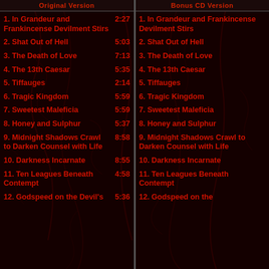Original Version
Bonus CD Version
1. In Grandeur and Frankincense Devilment Stirs  2:27
2. Shat Out of Hell  5:03
3. The Death of Love  7:13
4. The 13th Caesar  5:35
5. Tiffauges  2:14
6. Tragic Kingdom  5:59
7. Sweetest Maleficia  5:59
8. Honey and Sulphur  5:37
9. Midnight Shadows Crawl to Darken Counsel with Life  8:58
10. Darkness Incarnate  8:55
11. Ten Leagues Beneath Contempt  4:58
12. Godspeed on the Devil's  5:36
1. In Grandeur and Frankincense Devilment Stirs
2. Shat Out of Hell
3. The Death of Love
4. The 13th Caesar
5. Tiffauges
6. Tragic Kingdom
7. Sweetest Maleficia
8. Honey and Sulphur
9. Midnight Shadows Crawl to Darken Counsel with Life
10. Darkness Incarnate
11. Ten Leagues Beneath Contempt
12. Godspeed on the